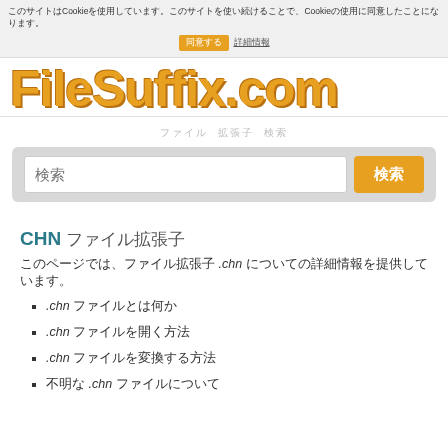このサイトはCookieを使用しています。このサイトを使い続けることで、Cookieの使用に同意したことになります。 同意する 詳細情報
[Figure (logo): FileSuffix.com logo in orange/yellow handwritten-style font]
ファイル 拡張子 検索
検索 搜索
CHN ファイル拡張子
このページでは、ファイル拡張子 .chn についての詳細情報を提供しています。
.chn ファイルとは何か
.chn ファイル ファイルを開く方法
.chn ファイルを変換する方法
不明な .chn ファイルについて